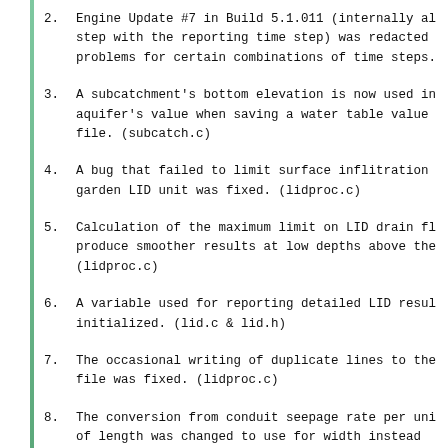2.   Engine Update #7 in Build 5.1.011 (internally aligns the routing time step with the reporting time step) was redacted because it caused problems for certain combinations of time steps.
3.   A subcatchment's bottom elevation is now used instead of the aquifer's value when saving a water table value to a hot start file. (subcatch.c)
4.   A bug that failed to limit surface inflitration into a rain garden LID unit was fixed. (lidproc.c)
5.   Calculation of the maximum limit on LID drain flow was modified to produce smoother results at low depths above the drain offset. (lidproc.c)
6.   A variable used for reporting detailed LID results was not properly initialized. (lid.c & lid.h)
7.   The occasional writing of duplicate lines to the detailed LID report file was fixed. (lidproc.c)
8.   The conversion from conduit seepage rate per unit of length was changed to use for width instead...